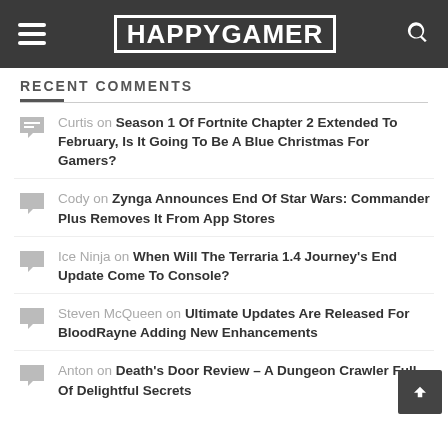HAPPYGAMER
RECENT COMMENTS
Curtis on Season 1 Of Fortnite Chapter 2 Extended To February, Is It Going To Be A Blue Christmas For Gamers?
Cody on Zynga Announces End Of Star Wars: Commander Plus Removes It From App Stores
Ice Ninja on When Will The Terraria 1.4 Journey's End Update Come To Console?
Steven McQueen on Ultimate Updates Are Released For BloodRayne Adding New Enhancements
Anton on Death's Door Review – A Dungeon Crawler Full Of Delightful Secrets